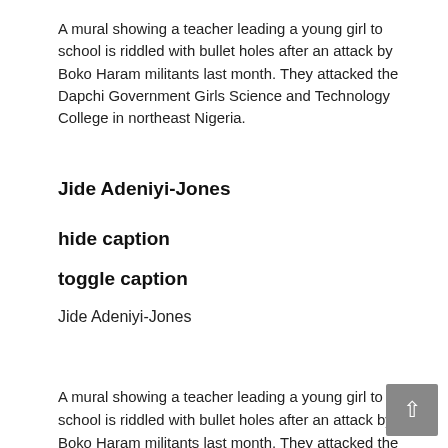A mural showing a teacher leading a young girl to school is riddled with bullet holes after an attack by Boko Haram militants last month. They attacked the Dapchi Government Girls Science and Technology College in northeast Nigeria.
Jide Adeniyi-Jones
hide caption
toggle caption
Jide Adeniyi-Jones
A mural showing a teacher leading a young girl to school is riddled with bullet holes after an attack by Boko Haram militants last month. They attacked the Dapchi G...